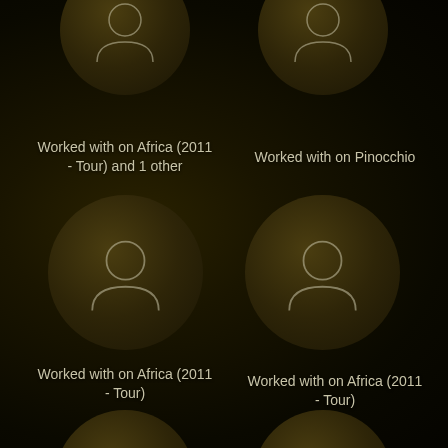[Figure (illustration): Top-left avatar circle - silhouette placeholder, partially cropped at top]
[Figure (illustration): Top-right avatar circle - silhouette placeholder, partially cropped at top]
Worked with on Africa (2011 - Tour) and 1 other
Worked with on Pinocchio
[Figure (illustration): Middle-left avatar circle - full silhouette placeholder]
[Figure (illustration): Middle-right avatar circle - full silhouette placeholder]
Worked with on Africa (2011 - Tour)
Worked with on Africa (2011 - Tour)
[Figure (illustration): Bottom-left avatar circle - partially cropped at bottom]
[Figure (illustration): Bottom-right avatar circle - partially cropped at bottom]